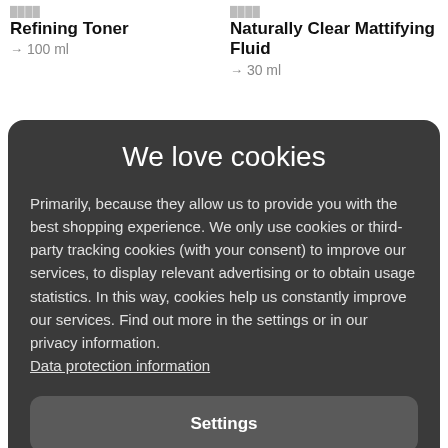Refining Toner
→ 100 ml
Naturally Clear Mattifying Fluid
→ 30 ml
We love cookies
Primarily, because they allow us to provide you with the best shopping experience. We only use cookies or third-party tracking cookies (with your consent) to improve our services, to display relevant advertising or to obtain usage statistics. In this way, cookies help us constantly improve our services. Find out more in the settings or in our privacy information. Data protection information
Settings
Reject all
Accept all